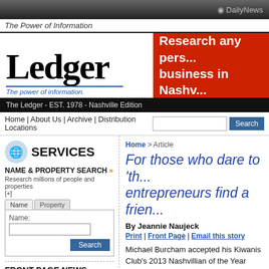DailyNews
The Power of Information
[Figure (logo): Ledger newspaper logo with tagline 'The power of information.']
[Figure (infographic): Red advertisement banner: 'Research any pers... business in Nashv...']
The Ledger - EST. 1978 - Nashville Edition
Home | About Us | Archive | Distribution Locations
SERVICES
NAME & PROPERTY SEARCH » Research millions of people and properties [+]
For those who dare to 'th... entrepreneurs find a frien...
By Jeannie Naujeck
Print | Front Page | Email this story
Michael Burcham accepted his Kiwanis Club's 2013 Nashvillian of the Year award with a moving and resonant speech that was less about his own accomplishments than about
FRONT PAGE NEWS